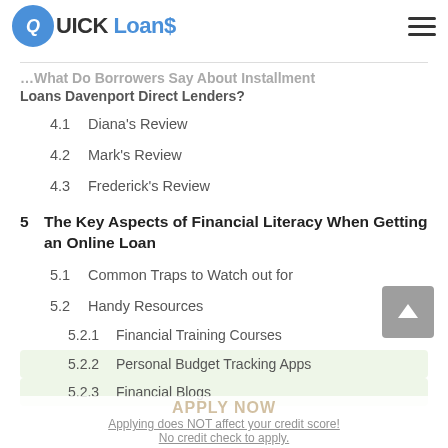Quick Loans
What Do Borrowers Say About Installment Loans Davenport Direct Lenders?
4.1  Diana's Review
4.2  Mark's Review
4.3  Frederick's Review
5  The Key Aspects of Financial Literacy When Getting an Online Loan
5.1  Common Traps to Watch out for
5.2  Handy Resources
5.2.1  Financial Training Courses
5.2.2  Personal Budget Tracking Apps
5.2.3  Financial Blogs
Applying does NOT affect your credit score! No credit check to apply.